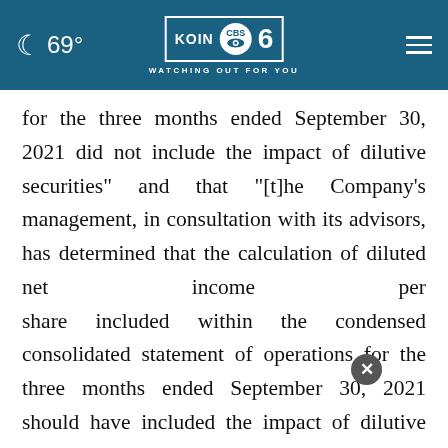69° KOIN CBS 6 WATCHING OUT FOR YOU
for the three months ended September 30, 2021 did not include the impact of dilutive securities" and that "[t]he Company's management, in consultation with its advisors, has determined that the calculation of diluted net income per share included within the condensed consolidated statement of operations for the three months ended September 30, 2021 should have included the impact of dilutive securities."
Acco... of MoneyLion's Board of Directors determined that